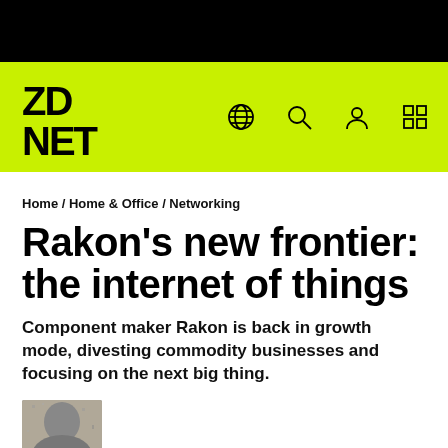[Figure (logo): ZDNet logo on lime green navigation bar with globe, search, user, and grid icons]
Home / Home & Office / Networking
Rakon's new frontier: the internet of things
Component maker Rakon is back in growth mode, divesting commodity businesses and focusing on the next big thing.
[Figure (photo): Author headshot photo, black and white]